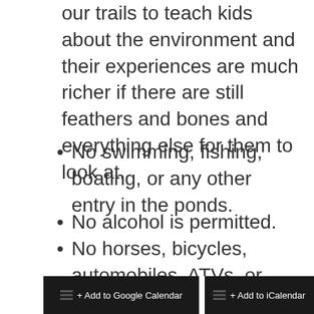our trails to teach kids about the environment and their experiences are much richer if there are still feathers and bones and everything else for them to look at.
No swimming, fishing, boating, or any other entry in the ponds.
No alcohol is permitted.
No horses, bicycles, automobiles, ATVs, or any other vehicles are allowed on the trails.
No hunting is permitted.
[Figure (screenshot): Two black buttons at the bottom: '+ Add to Google Calendar' and '+ Add to iCalendar']